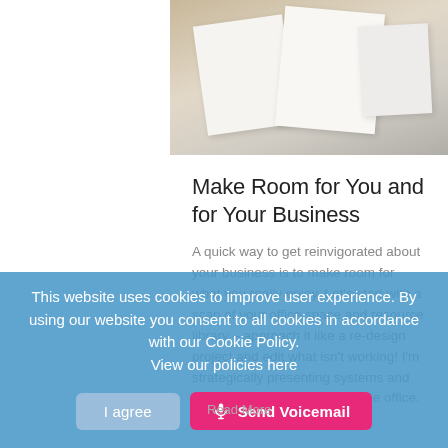[Figure (photo): Photo of papers/documents on a wooden surface, top portion of a blog article card]
Make Room for You and for Your Business
A quick way to get reinvigorated about your business is to make room for what you really enjoy. Let's start with a scan of your office space and resource library – approach it like a re-design project and edit what isn't working! I'm strategically presenting systems and practices for a productive home office.
Read More
This website uses cookies to improve user experience. By using our website you consent to all cookies in accordance with our Cookie Policy. View our policies here
I agree
Send Voicemail